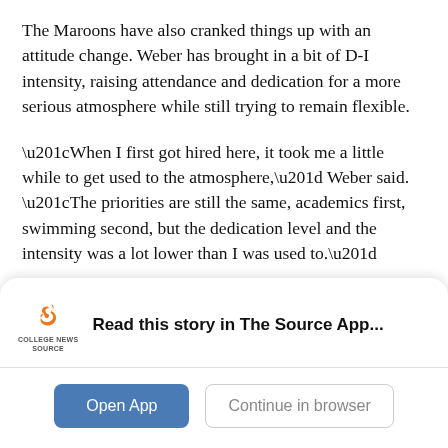The Maroons have also cranked things up with an attitude change. Weber has brought in a bit of D-I intensity, raising attendance and dedication for a more serious atmosphere while still trying to remain flexible.
“When I first got hired here, it took me a little while to get used to the atmosphere,” Weber said. “The priorities are still the same, academics first, swimming second, but the dedication level and the intensity was a lot lower than I was used to.”
So far, the Maroons are thriving under the higher expectations. Last year both squads improved on their
[Figure (logo): College News Source logo — stylized orange/black S mark above the text COLLEGE NEWS SOURCE]
Read this story in The Source App...
Open App
Continue in browser